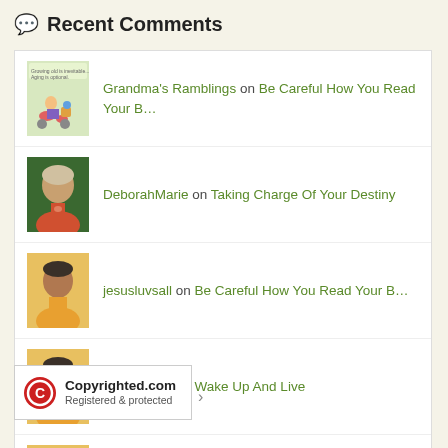💬 Recent Comments
Grandma's Ramblings on Be Careful How You Read Your B…
DeborahMarie on Taking Charge Of Your Destiny
jesusluvsall on Be Careful How You Read Your B…
jesusluvsall on Wake Up And Live
jesusluvsall on Seven Reasons To Trust God
[Figure (logo): Copyrighted.com Registered & protected badge with red circle-C icon]